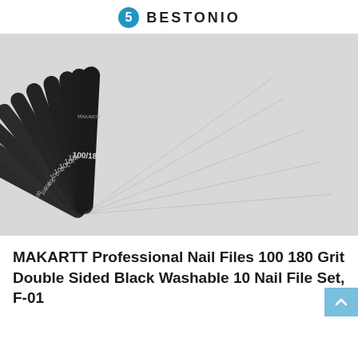BESTONIO
[Figure (photo): Fan arrangement of 10 black MAKARTT nail files labeled 100/180 grit, spread out showing the double-sided black sandpaper surface with white logo and grit markings.]
MAKARTT Professional Nail Files 100 180 Grit Double Sided Black Washable 10 Nail File Set, F-01